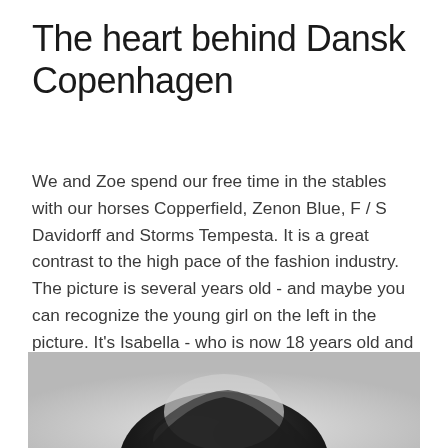The heart behind Dansk Copenhagen
We and Zoe spend our free time in the stables with our horses Copperfield, Zenon Blue, F / S Davidorff and Storms Tempesta. It is a great contrast to the high pace of the fashion industry. The picture is several years old - and maybe you can recognize the young girl on the left in the picture. It's Isabella - who is now 18 years old and the model on all our campaigns and brochures. Maybe she will be 3rd generation?
[Figure (photo): Black and white photograph showing a person (partially visible, cropped), with dark hair visible at bottom of frame, set against a light grey background.]